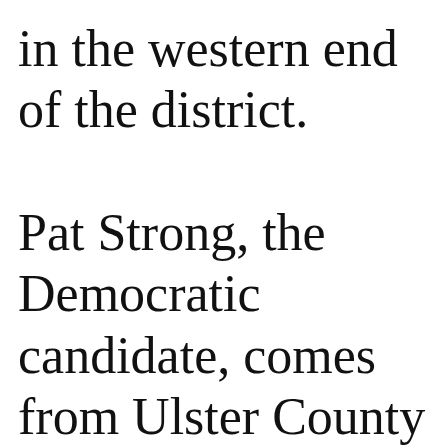in the western end of the district. Pat Strong, the Democratic candidate, comes from Ulster County